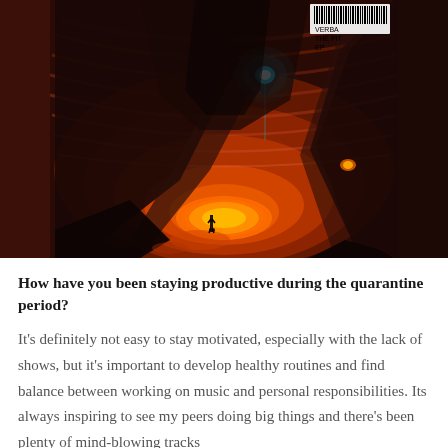[Figure (illustration): Science fiction / fantasy digital artwork showing a dramatic underground cave or pit scene. A lone figure stands before a massive glowing vortex of orange-red lava light on the ground. Large dark angular rock formations or spacecraft-like shapes frame the scene. A bright teal/cyan energy glow emanates from a diamond-shaped form at the top center. The cave walls have swirling red and orange striations. In the upper right corner there is a barcode and text reading 'VERBA THE PIT EP'.]
How have you been staying productive during the quarantine period?
It's definitely not easy to stay motivated, especially with the lack of shows, but it's important to develop healthy routines and find balance between working on music and personal responsibilities. Its always inspiring to see my peers doing big things and there's been plenty of mind-blowing tracks